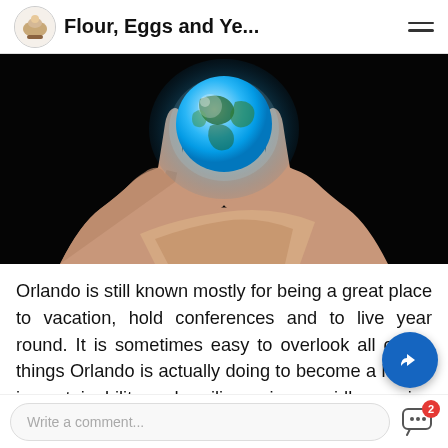Flour, Eggs and Ye...
[Figure (photo): Hands cupping a glowing blue Earth globe against a black background]
Orlando is still known mostly for being a great place to vacation, hold conferences and to live year round. It is sometimes easy to overlook all of the things Orlando is actually doing to become a leader in sustainability and resilience in a rapidly growing city. Back in 2007, Orlando Mayor Buddy Dyer launched the Green Works Orlando initiative to ensure t
Write a comment...